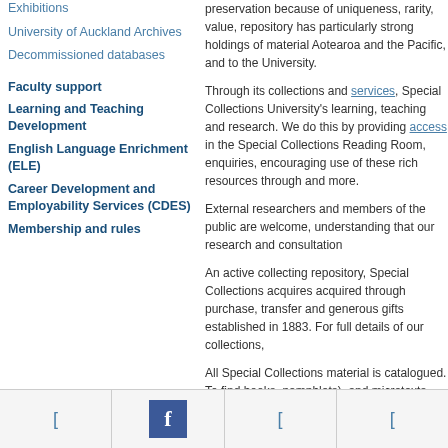Exhibitions
University of Auckland Archives
Decommissioned databases
Faculty support
Learning and Teaching Development
English Language Enrichment (ELE)
Career Development and Employability Services (CDES)
Membership and rules
preservation because of uniqueness, rarity, va... repository has particularly strong holdings of m... Aotearoa and the Pacific, and to the University...
Through its collections and services, Special C... University's learning, teaching and research. W... providing access in the Special Collections Re... enquiries, encouraging use of these rich resou... and more.
External researchers and members of the publ... understanding that our research and consultat...
An active collecting repository, Special Collecti... acquired through purchase, transfer and gene... established in 1883. For full details of our coll...
All Special Collections material is catalogued. T... pamphlets), and microtexts, use the Libraries a... Catalogue. To find archival material, search Ma...
[social media icons row]